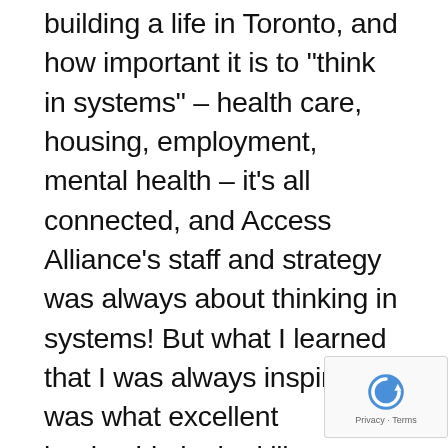building a life in Toronto, and how important it is to "think in systems" – health care, housing, employment, mental health – it's all connected, and Access Alliance's staff and strategy was always about thinking in systems! But what I learned that I was always inspired by was what excellent leadership looked like, as demonstrated by Axelle Janczur, the Executive Director during my time on the Board. Axelle had a rare combination of skills and talents – she is intelligent, exudes compassion, is firm in her convictions but also willing to change her mind; and above all, she believes in community and working with and through others to accomplish her goals. Axelle was a living embodiment of that proverb that says, "You go fast alone, but far together".